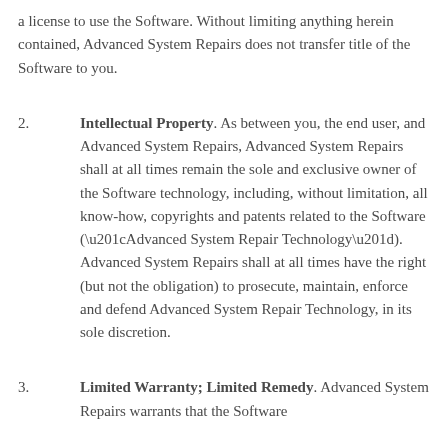a license to use the Software. Without limiting anything herein contained, Advanced System Repairs does not transfer title of the Software to you.
2. Intellectual Property. As between you, the end user, and Advanced System Repairs, Advanced System Repairs shall at all times remain the sole and exclusive owner of the Software technology, including, without limitation, all know-how, copyrights and patents related to the Software (“Advanced System Repair Technology”). Advanced System Repairs shall at all times have the right (but not the obligation) to prosecute, maintain, enforce and defend Advanced System Repair Technology, in its sole discretion.
3. Limited Warranty; Limited Remedy. Advanced System Repairs warrants that the Software